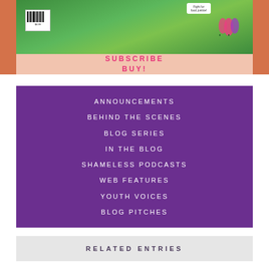[Figure (photo): Books/magazines with illustrated floral covers featuring tulips and flowers on an orange/coral background]
SUBSCRIBE
BUY!
ANNOUNCEMENTS
BEHIND THE SCENES
BLOG SERIES
IN THE BLOG
SHAMELESS PODCASTS
WEB FEATURES
YOUTH VOICES
BLOG PITCHES
RELATED ENTRIES